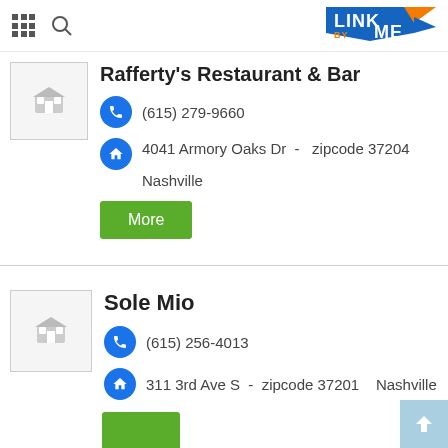LinkByMe app header with grid icon, search icon, and LinkByMe logo
Rafferty's Restaurant & Bar
(615) 279-9660
4041 Armory Oaks Dr  -  zipcode 37204 Nashville
More
Sole Mio
(615) 256-4013
311 3rd Ave S  -  zipcode 37201  Nashville